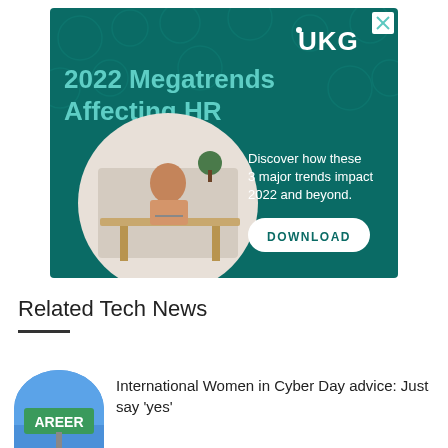[Figure (infographic): UKG advertisement banner with teal/dark green background showing a man sitting at a desk working. Text reads '2022 Megatrends Affecting HR' in large teal font, with UKG logo top right, body text 'Discover how these 3 major trends impact 2022 and beyond.' and a DOWNLOAD button.]
Related Tech News
[Figure (photo): Thumbnail image showing a green street sign reading 'AREER' against a blue sky background.]
International Women in Cyber Day advice: Just say 'yes'